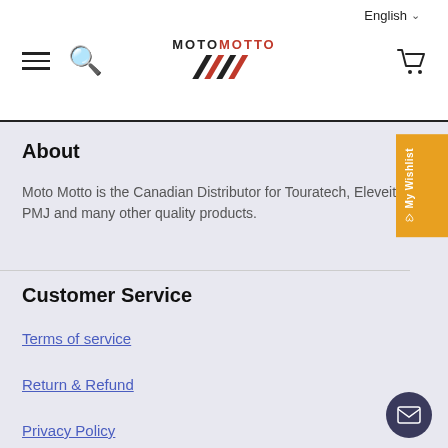English
[Figure (logo): MotoMotto logo with stylized M chevron in black and red]
About
Moto Motto is the Canadian Distributor for Touratech, Eleveit, PMJ and many other quality products.
Customer Service
Terms of service
Return & Refund
Privacy Policy
Shipping Policy
Contact us